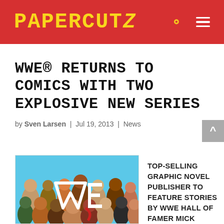PAPERCUTZ
WWE® RETURNS TO COMICS WITH TWO EXPLOSIVE NEW SERIES
by Sven Larsen | Jul 19, 2013 | News
[Figure (illustration): Illustrated cartoon-style group image of WWE wrestlers with the WWE logo in the center]
TOP-SELLING GRAPHIC NOVEL PUBLISHER TO FEATURE STORIES BY WWE HALL OF FAMER MICK